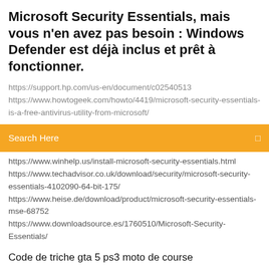Microsoft Security Essentials, mais vous n'en avez pas besoin : Windows Defender est déjà inclus et prêt à fonctionner.
https://support.hp.com/us-en/document/c02540513
https://www.howtogeek.com/howto/4419/microsoft-security-essentials-is-a-free-antivirus-utility-from-microsoft/
[Figure (screenshot): Orange search bar with text 'Search Here' and a small icon on the right]
https://www.winhelp.us/install-microsoft-security-essentials.html
https://www.techadvisor.co.uk/download/security/microsoft-security-essentials-4102090-64-bit-175/
https://www.heise.de/download/product/microsoft-security-essentials-mse-68752
https://www.downloadsource.es/1760510/Microsoft-Security-Essentials/
Code de triche gta 5 ps3 moto de course